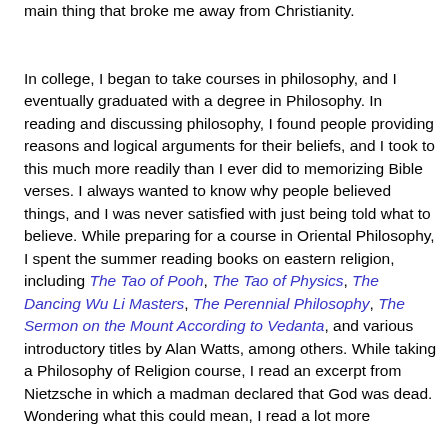main thing that broke me away from Christianity.
In college, I began to take courses in philosophy, and I eventually graduated with a degree in Philosophy. In reading and discussing philosophy, I found people providing reasons and logical arguments for their beliefs, and I took to this much more readily than I ever did to memorizing Bible verses. I always wanted to know why people believed things, and I was never satisfied with just being told what to believe. While preparing for a course in Oriental Philosophy, I spent the summer reading books on eastern religion, including The Tao of Pooh, The Tao of Physics, The Dancing Wu Li Masters, The Perennial Philosophy, The Sermon on the Mount According to Vedanta, and various introductory titles by Alan Watts, among others. While taking a Philosophy of Religion course, I read an excerpt from Nietzsche in which a madman declared that God was dead. Wondering what this could mean, I read a lot more...